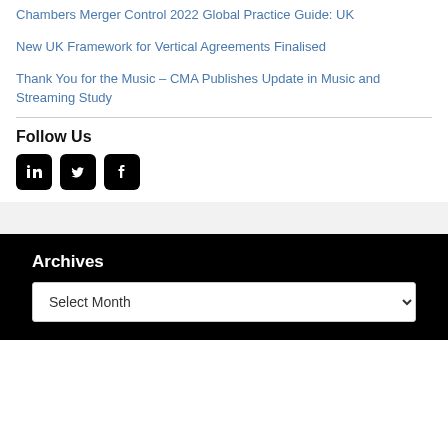Chambers Merger Control 2022 Global Practice Guide: UK
New UK Framework for Vertical Agreements Finalised
Thank You for the Music – CMA Publishes Update in Music and Streaming Study
Follow Us
[Figure (other): Social media icons: LinkedIn, Twitter, Facebook]
Archives
Select Month